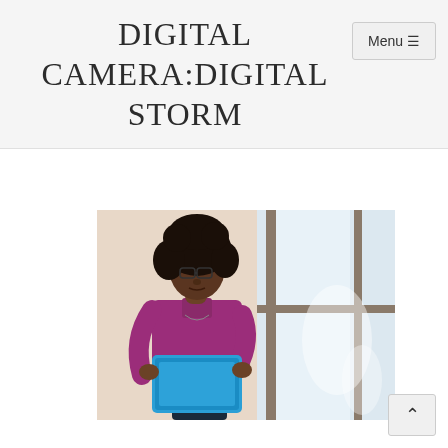DIGITAL CAMERA:DIGITAL STORM
Menu ≡
[Figure (photo): A young Black woman with curly hair and glasses, wearing a purple/magenta button-up shirt, leaning against a wall near a large window, looking down at a tablet with a blue cover. Background shows bright window light.]
∧